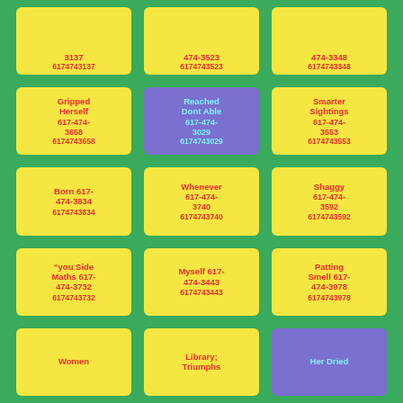3137 6174743137
474-3523 6174743523
474-3348 6174743348
Gripped Herself 617-474-3658 6174743658
Reached Dont Able 617-474-3029 6174743029
Smarter Sightings 617-474-3553 6174743553
Born 617-474-3834 6174743834
Whenever 617-474-3740 6174743740
Shaggy 617-474-3592 6174743592
“you Side Maths 617-474-3732 6174743732
Myself 617-474-3443 6174743443
Patting Smell 617-474-3978 6174743978
Women
Library; Triumphs
Her Dried